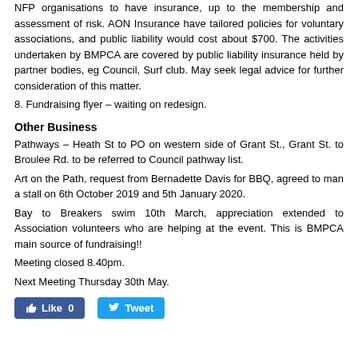NFP organisations to have insurance, up to the membership and assessment of risk. AON Insurance have tailored policies for voluntary associations, and public liability would cost about $700. The activities undertaken by BMPCA are covered by public liability insurance held by partner bodies, eg Council, Surf club. May seek legal advice for further consideration of this matter.
8. Fundraising flyer – waiting on redesign.
Other Business
Pathways – Heath St to PO on western side of Grant St., Grant St. to Broulee Rd. to be referred to Council pathway list.
Art on the Path, request from Bernadette Davis for BBQ, agreed to man a stall on 6th October 2019 and 5th January 2020.
Bay to Breakers swim 10th March, appreciation extended to Association volunteers who are helping at the event. This is BMPCA main source of fundraising!!
Meeting closed 8.40pm.
Next Meeting Thursday 30th May.
[Figure (other): Social media buttons: Facebook Like (0) and Twitter Tweet]